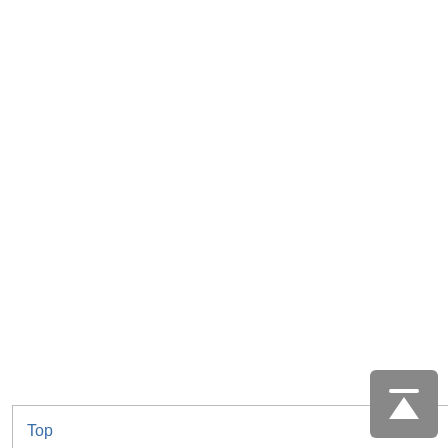Cloud computing is divided into software as a service (SaaS), application... will introduce how we use... efficiently reach a consensus... users, we will compare results... experience in online collaboration...
Modern researches taking... today's scientific journals... information services [4] . A... made a number of applications... infrastructure and service... and easy access, cloud computing... cloud computing is... local computers will...
As Couclelis described... all the help they can... such support. Considering... in the local environment...
Top
ABSTRACT
Introduction
Research Approach
Cloud-Based VR in Different Platforms
VR Representation and Communication as SaaS of the Three Tools